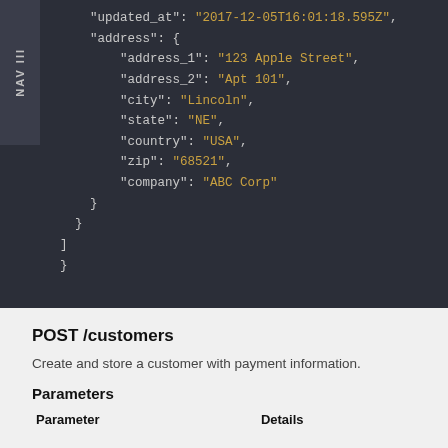[Figure (screenshot): Dark-themed code block showing JSON snippet with updated_at timestamp and address object containing address_1, address_2, city, state, country, zip, and company fields. A NAV III sidebar tab appears on the left.]
POST /customers
Create and store a customer with payment information.
Parameters
| Parameter | Details |
| --- | --- |